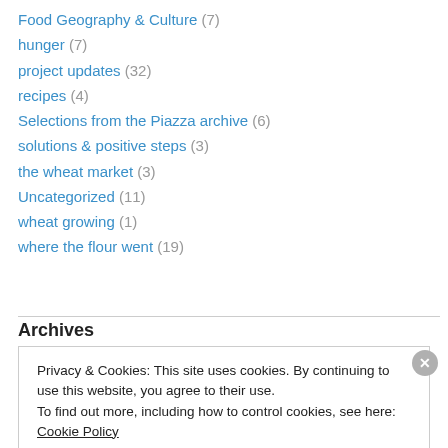Food Geography & Culture (7)
hunger (7)
project updates (32)
recipes (4)
Selections from the Piazza archive (6)
solutions & positive steps (3)
the wheat market (3)
Uncategorized (11)
wheat growing (1)
where the flour went (19)
Archives
Privacy & Cookies: This site uses cookies. By continuing to use this website, you agree to their use.
To find out more, including how to control cookies, see here: Cookie Policy
Close and accept